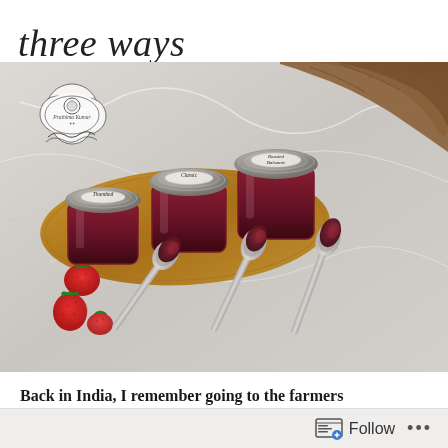three ways
[Figure (photo): Three mason jars of strawberry jam labeled 'Thumbed', 'Classic', and 'Roasted Balsamic' on a wooden cutting board, surrounded by fresh strawberries, three spoons with jam, and sliced whole wheat bread, all on a marble surface. A decorative logo is visible in the top left corner of the photo.]
Back in India, I remember going to the farmers
Follow ...